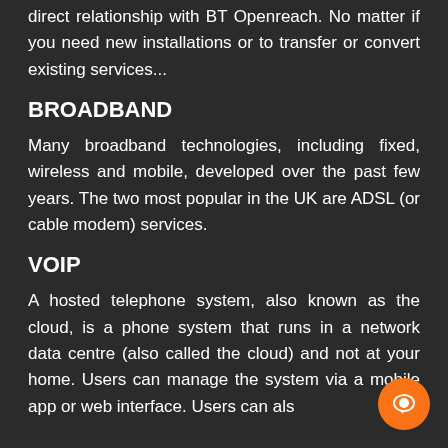direct relationship with BT Openreach. No matter if you need new installations or to transfer or convert existing services...
BROADBAND
Many broadband technologies, including fixed, wireless and mobile, developed over the past few years. The two most popular in the UK are ADSL (or cable modem) services.
VOIP
A hosted telephone system, also known as the cloud, is a phone system that runs in a network data centre (also called the cloud) and not at your home. Users can manage the system via a mobile app or web interface. Users can als